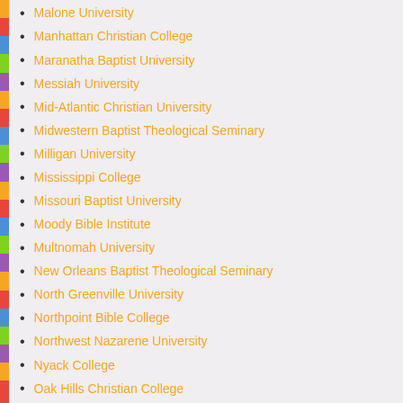Malone University
Manhattan Christian College
Maranatha Baptist University
Messiah University
Mid-Atlantic Christian University
Midwestern Baptist Theological Seminary
Milligan University
Mississippi College
Missouri Baptist University
Moody Bible Institute
Multnomah University
New Orleans Baptist Theological Seminary
North Greenville University
Northpoint Bible College
Northwest Nazarene University
Nyack College
Oak Hills Christian College
Ohio Christian University
Oklahoma Baptist University
Oklahoma Christian University
Oklahoma Wesleyan University